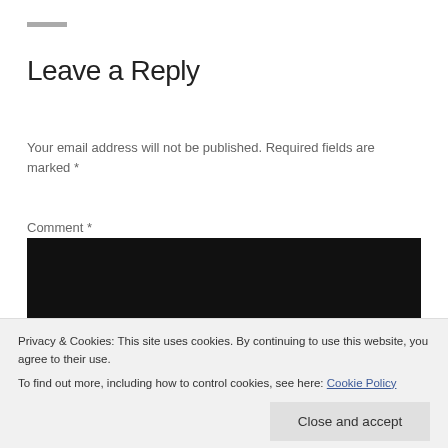Leave a Reply
Your email address will not be published. Required fields are marked *
Comment *
[Figure (other): Black comment text input area]
Name
Privacy & Cookies: This site uses cookies. By continuing to use this website, you agree to their use.
To find out more, including how to control cookies, see here: Cookie Policy
Close and accept